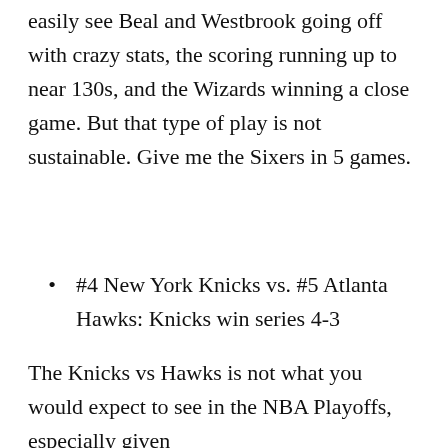easily see Beal and Westbrook going off with crazy stats, the scoring running up to near 130s, and the Wizards winning a close game. But that type of play is not sustainable. Give me the Sixers in 5 games.
#4 New York Knicks vs. #5 Atlanta Hawks: Knicks win series 4-3
The Knicks vs Hawks is not what you would expect to see in the NBA Playoffs, especially given